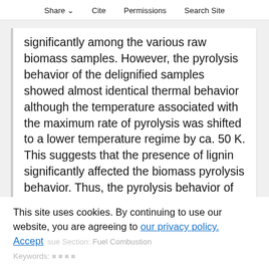Share  Cite  Permissions  Search Site
significantly among the various raw biomass samples. However, the pyrolysis behavior of the delignified samples showed almost identical thermal behavior although the temperature associated with the maximum rate of pyrolysis was shifted to a lower temperature regime by ca. 50 K. This suggests that the presence of lignin significantly affected the biomass pyrolysis behavior. Thus, the pyrolysis behavior of the biomass cannot be predicted simply from the individual components without considering their
This site uses cookies. By continuing to use our website, you are agreeing to our privacy policy. Accept
Issue Section: Fuel Combustion Keywords: